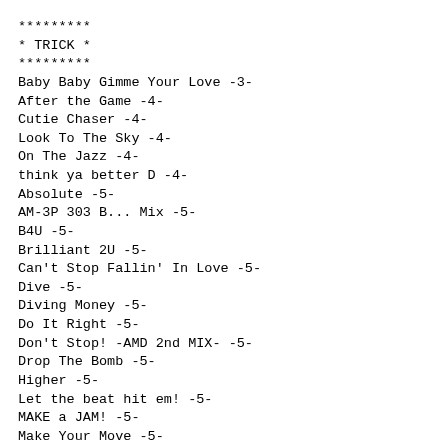*********
* TRICK *
*********
Baby Baby Gimme Your Love -3-
After the Game -4-
Cutie Chaser -4-
Look To The Sky -4-
On The Jazz -4-
think ya better D -4-
Absolute -5-
AM-3P 303 B... Mix -5-
B4U -5-
Brilliant 2U -5-
Can't Stop Fallin' In Love -5-
Dive -5-
Diving Money -5-
Do It Right -5-
Don't Stop! -AMD 2nd MIX- -5-
Drop The Bomb -5-
Higher -5-
Let the beat hit em! -5-
MAKE a JAM! -5-
Make Your Move -5-
Matsuri JAPAN -5-
Orion.78 -5-
patsenner -5-
Salamander (Beat Crush Mix) -5-
Wild Rush -5-
.59 -6-